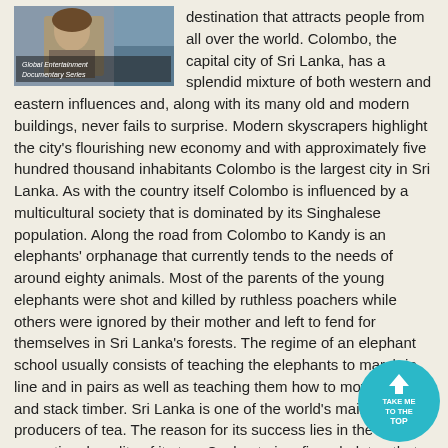[Figure (photo): Photo of a person with overlay text 'Global Entertainment Documentary Series']
destination that attracts people from all over the world. Colombo, the capital city of Sri Lanka, has a splendid mixture of both western and eastern influences and, along with its many old and modern buildings, never fails to surprise. Modern skyscrapers highlight the city's flourishing new economy and with approximately five hundred thousand inhabitants Colombo is the largest city in Sri Lanka. As with the country itself Colombo is influenced by a multicultural society that is dominated by its Singhalese population. Along the road from Colombo to Kandy is an elephants' orphanage that currently tends to the needs of around eighty animals. Most of the parents of the young elephants were shot and killed by ruthless poachers while others were ignored by their mother and left to fend for themselves in Sri Lanka's forests. The regime of an elephant school usually consists of teaching the elephants to march in line and in pairs as well as teaching them how to move, carry and stack timber. Sri Lanka is one of the world's main producers of tea. The reason for its success lies in the exceptional quality of its tea. Ceylon te is a fine, dark tea that has today become a popular ingredient in many different blends. Some areas on Sri
[Figure (logo): Teal circular badge with upward arrow and text 'TAKE ME TO THE TOP']